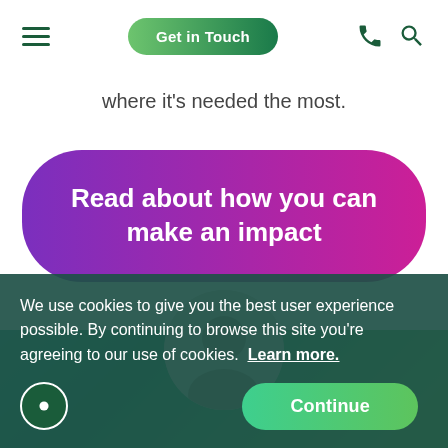Get in Touch
where it’s needed the most.
Read about how you can make an impact
[Figure (photo): Partial circular photo of a person visible at top of a teal-to-green gradient background section]
We use cookies to give you the best user experience possible. By continuing to browse this site you’re agreeing to our use of cookies. Learn more.
Continue